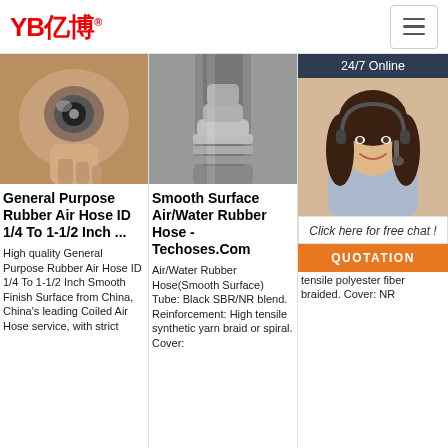YB亿博® [logo] [hamburger menu]
[Figure (photo): Hand holding a round metal fitting, product photo]
[Figure (photo): Smooth surface rubber air/water hose end fitting, metallic, close-up]
[Figure (photo): Rubber hose product with 24/7 Online overlay chat panel with agent photo, Click here for free chat, QUOTATION button, and TOP badge]
General Purpose Rubber Air Hose ID 1/4 To 1-1/2 Inch ...
Smooth Surface Air/Water Rubber Hose - Techoses.Com
Ch... Fir... 300 Air... Ch...
High quality General Purpose Rubber Air Hose ID 1/4 To 1-1/2 Inch Smooth Finish Surface from China, China's leading Coiled Air Hose service, with strict
Air/Water Rubber Hose(Smooth Surface) Tube: Black SBR/NR blend. Reinforcement: High tensile synthetic yarn braid or spiral. Cover:
Rubber... (sm... Construction: Tube: NR& SBR synthetic rubber. Reinforcement: High tensile polyester fiber braided. Cover: NR